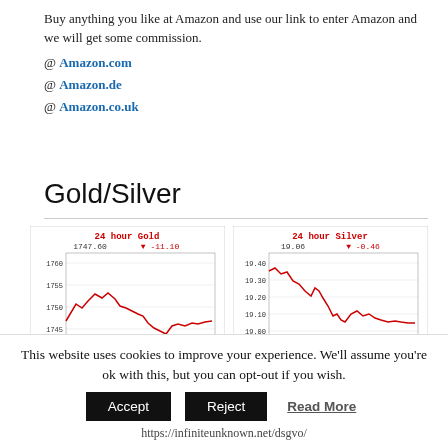Buy anything you like at Amazon and use our link to enter Amazon and we will get some commission.
@ Amazon.com
@ Amazon.de
@ Amazon.co.uk
Gold/Silver
[Figure (continuous-plot): 24 hour Gold price chart from kitco.com. Shows gold price around 1747.60, down -11.10. Price range roughly 1740-1760. X-axis: 00 06 12 18 24, dated Aug 19, 2022 21:14 NY Time. Price in USD per oz.]
[Figure (continuous-plot): 24 hour Silver price chart from kitco.com. Shows silver price around 19.06, down -0.46. Price range roughly 18.90-19.40. X-axis: 00 06 12 18 24, dated Aug 19, 2022 22:56 NY Time. Price in USD per oz.]
This website uses cookies to improve your experience. We'll assume you're ok with this, but you can opt-out if you wish.
Accept | Reject | Read More
https://infiniteunknown.net/dsgvo/